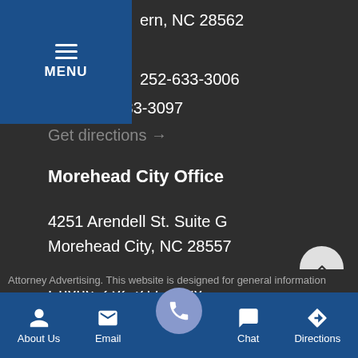[Figure (screenshot): Blue MENU button with hamburger icon overlay in top-left corner]
ern, NC 28562
252-633-3006
Fax: 252-633-3097
Get directions →
Morehead City Office
4251 Arendell St. Suite G
Morehead City, NC 28557
Phone: 252-917-5060
Fax: 252-633-3097
Get directions →
Attorney Advertising. This website is designed for general information
About Us   Email   [Call]   Chat   Directions